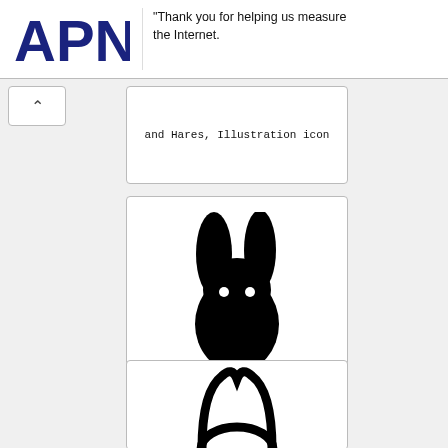[Figure (logo): APNIC logo in dark navy blue bold text]
Thank you for helping us measure the Internet.
and Hares, Illustration icon
[Figure (illustration): Black silhouette of a rabbit/bunny facing forward with two white dot eyes, tall ears, rounded body, and small feet at base]
Rabbit, Rabbits and Hares, Black-and-white, Clip art icon
[Figure (illustration): Outline icon of rabbit ears and top of head, black on white, partially visible at bottom of page]